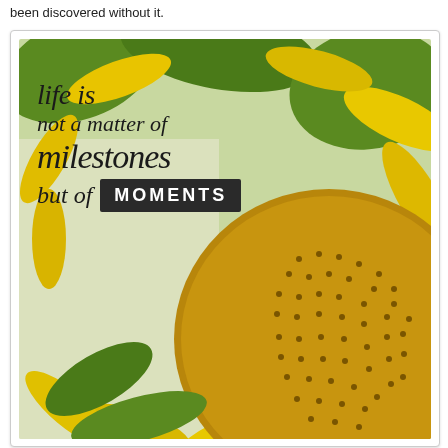been discovered without it.
[Figure (photo): A close-up photograph of a sunflower with bright yellow petals and a large brown center seed head, with green leaves in the background. Overlaid on the photo is an inspirational quote: 'life is not a matter of milestones but of MOMENTS']